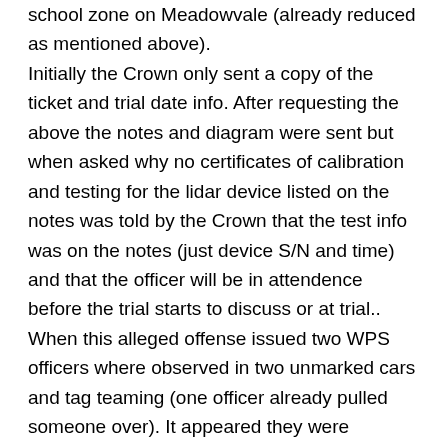school zone on Meadowvale (already reduced as mentioned above). Initially the Crown only sent a copy of the ticket and trial date info. After requesting the above the notes and diagram were sent but when asked why no certificates of calibration and testing for the lidar device listed on the notes was told by the Crown that the test info was on the notes (just device S/N and time) and that the officer will be in attendence before the trial starts to discuss or at trial.. When this alleged offense issued two WPS officers where observed in two unmarked cars and tag teaming (one officer already pulled someone over). It appeared they were targetting the end of the zone with no kids present. Ticket says 1:48 pm. It was on a wide open road with no parked cars or obstructed view. The officers were not using tripods. Officers notes list Ultra Lite LTI 2/20 100 LR which has the known issues mentioned above.